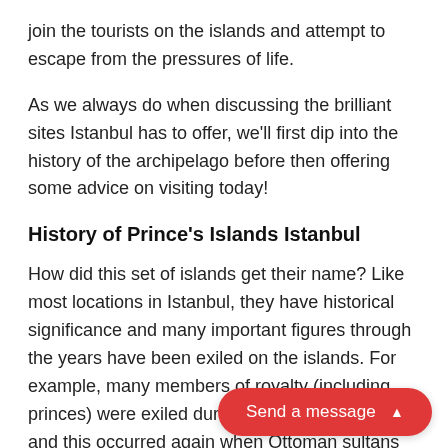join the tourists on the islands and attempt to escape from the pressures of life.
As we always do when discussing the brilliant sites Istanbul has to offer, we'll first dip into the history of the archipelago before then offering some advice on visiting today!
History of Prince's Islands Istanbul
How did this set of islands get their name? Like most locations in Istanbul, they have historical significance and many important figures through the years have been exiled on the islands. For example, many members of royalty (including princes) were exiled during the Byzantine period and this occurred again when Ottoman sultans (and th were also sent to the islands.